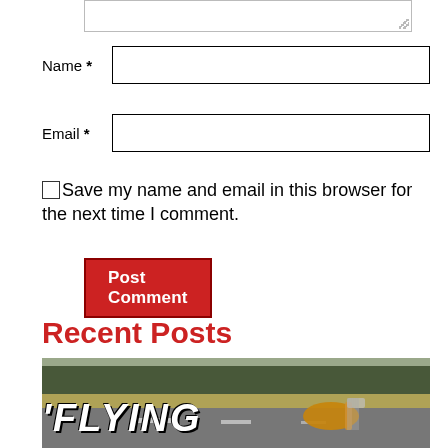[Figure (screenshot): Top of a textarea form field, partially visible at top of page]
Name *
Email *
Save my name and email in this browser for the next time I comment.
Post Comment
Recent Posts
[Figure (photo): Photo of a guitar on a road with trees and fields in the background. Text overlay reads 'FLYING' in bold italic white letters.]